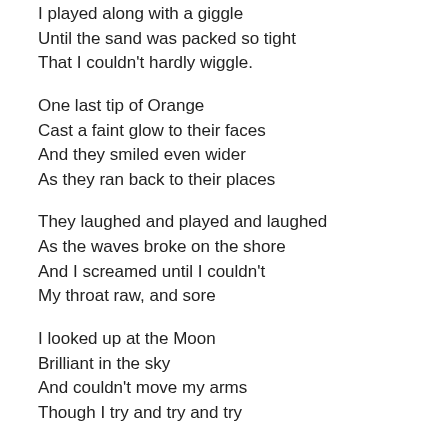I played along with a giggle
Until the sand was packed so tight
That I couldn't hardly wiggle.
One last tip of Orange
Cast a faint glow to their faces
And they smiled even wider
As they ran back to their places
They laughed and played and laughed
As the waves broke on the shore
And I screamed until I couldn't
My throat raw, and sore
I looked up at the Moon
Brilliant in the sky
And couldn't move my arms
Though I try and try and try